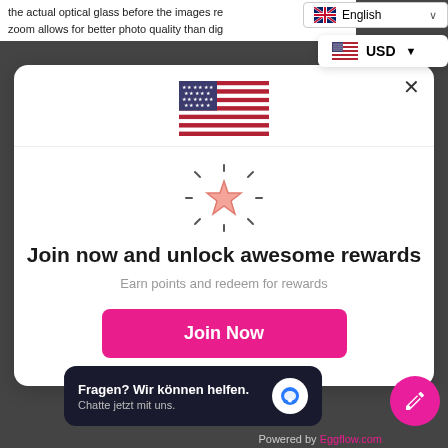the actual optical glass before the images re... zoom allows for better photo quality than dig...
🇬🇧 English ∨
🇺🇸 USD ▼
[Figure (illustration): US flag emoji centered in modal header]
Join now and unlock awesome rewards
Earn points and redeem for rewards
Join Now
Fragen? Wir können helfen.
Chatte jetzt mit uns.
Powered by Eggflow.com